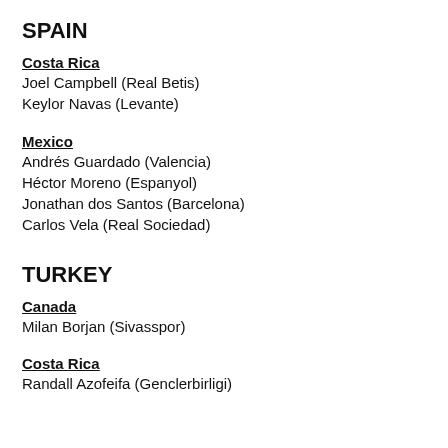SPAIN
Costa Rica
Joel Campbell (Real Betis)
Keylor Navas (Levante)
Mexico
Andrés Guardado (Valencia)
Héctor Moreno (Espanyol)
Jonathan dos Santos (Barcelona)
Carlos Vela (Real Sociedad)
TURKEY
Canada
Milan Borjan (Sivasspor)
Costa Rica
Randall Azofeifa (Genclerbirligi)